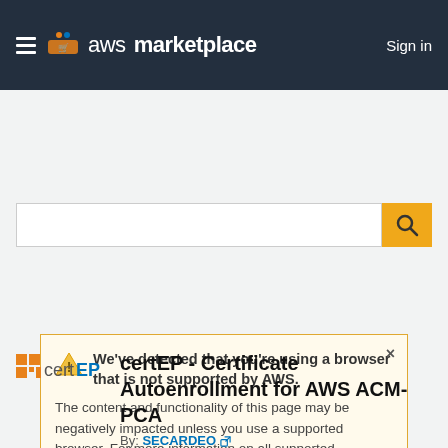aws marketplace  Sign in
[Figure (screenshot): AWS Marketplace search bar with orange search button]
We've detected that you're using a browser that is not supported by AWS. The content and functionality of this page may be negatively impacted unless you use a supported browser. For more information on all supported browsers visit our knowledge center article.
certEP - Certificate Autoenrollment for AWS ACM-PCA
By: SECARDEO
Latest Version: certEP 5.8-6 BYOL - 2